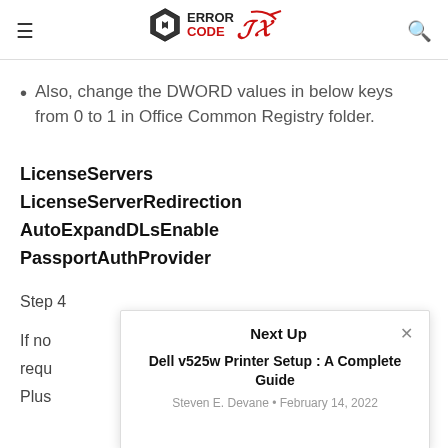≡  ERROR CODE OX  🔍
Also, change the DWORD values in below keys from 0 to 1 in Office Common Registry folder.
LicenseServers
LicenseServerRedirection
AutoExpandDLsEnable
PassportAuthProvider
Step 4...
If no...
requ...
Plus...
Next Up
Dell v525w Printer Setup : A Complete Guide
Steven E. Devane • February 14, 2022